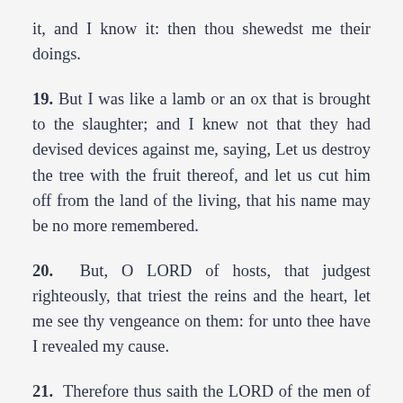it, and I know it: then thou shewedst me their doings.
19. But I was like a lamb or an ox that is brought to the slaughter; and I knew not that they had devised devices against me, saying, Let us destroy the tree with the fruit thereof, and let us cut him off from the land of the living, that his name may be no more remembered.
20. But, O LORD of hosts, that judgest righteously, that triest the reins and the heart, let me see thy vengeance on them: for unto thee have I revealed my cause.
21. Therefore thus saith the LORD of the men of Anathoth, that seek thy life, saying, Prophesy